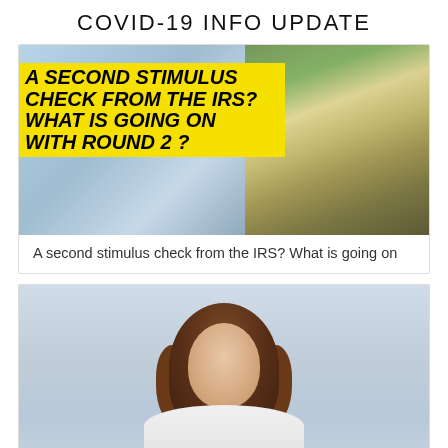COVID-19 INFO UPDATE
[Figure (photo): Thumbnail image with yellow overlay text reading 'A SECOND STIMULUS CHECK FROM THE IRS? WHAT IS GOING ON WITH ROUND 2?' overlaid on a background showing a face mask and US dollar bills]
A second stimulus check from the IRS? What is going on
[Figure (photo): Portrait photo of a smiling woman with brown wavy hair against a light blue/grey sky background]